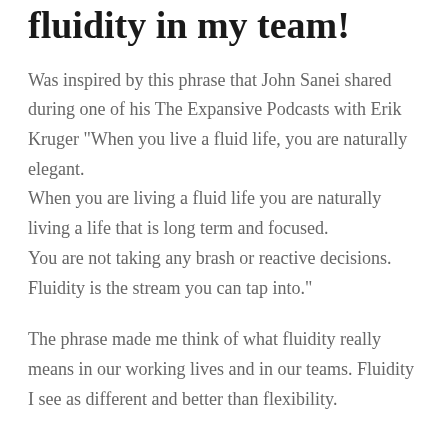fluidity in my team!
Was inspired by this phrase that John Sanei shared during one of his The Expansive Podcasts with Erik Kruger “When you live a fluid life, you are naturally elegant.
When you are living a fluid life you are naturally living a life that is long term and focused.
You are not taking any brash or reactive decisions.
Fluidity is the stream you can tap into.”
The phrase made me think of what fluidity really means in our working lives and in our teams. Fluidity I see as different and better than flexibility.